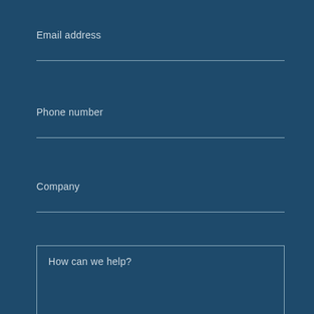Email address
Phone number
Company
How can we help?